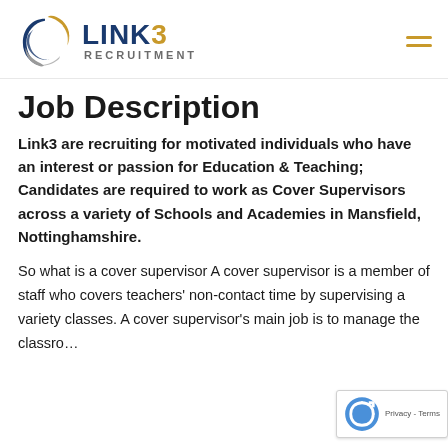LINK3 RECRUITMENT
Job Description
Link3 are recruiting for motivated individuals who have an interest or passion for Education & Teaching; Candidates are required to work as Cover Supervisors across a variety of Schools and Academies in Mansfield, Nottinghamshire.
So what is a cover supervisor A cover supervisor is a member of staff who covers teachers' non-contact time by supervising a variety classes. A cover supervisor's main job is to manage the classro...